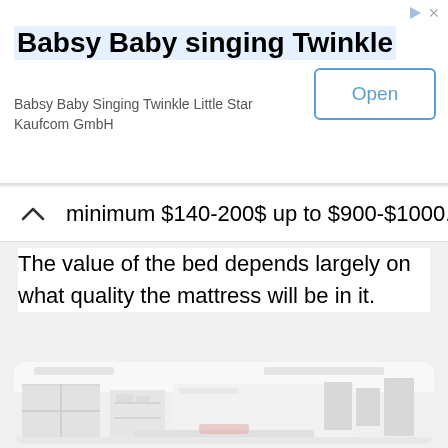[Figure (screenshot): Advertisement banner for 'Babsy Baby singing Twinkle' app by Kaufcom GmbH with an Open button on the right]
minimum $140-200$ up to $900-$1000.
The value of the bed depends largely on what quality the mattress will be in it.
[Figure (photo): A blurred/faded photo of a bedroom interior with windows, shelving, picture frames on the wall, and a bed at the bottom]